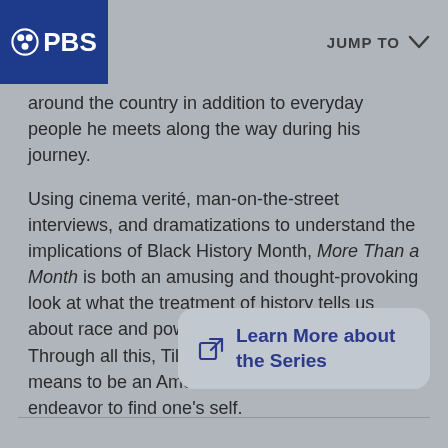PBS | JUMP TO
around the country in addition to everyday people he meets along the way during his journey.
Using cinema verité, man-on-the-street interviews, and dramatizations to understand the implications of Black History Month, More Than a Month is both an amusing and thought-provoking look at what the treatment of history tells us about race and power in the United States. Through all this, Tilghman explores what it means to be an American and the universal endeavor to find one's self.
Learn More about the Series